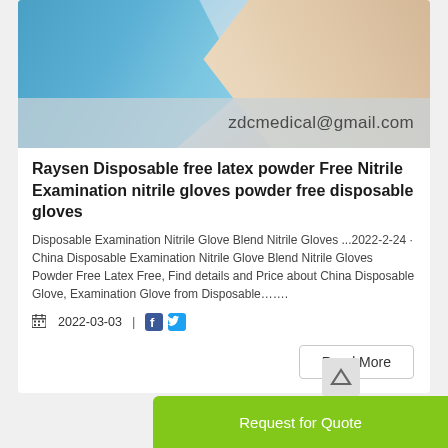[Figure (photo): Two disposable nitrile examination gloves — one blue on the left and one beige/skin-toned on the right — photographed against a light background. An email address 'zdcmedical@gmail.com' is overlaid in the lower right of the image.]
Raysen Disposable free latex powder Free Nitrile Examination nitrile gloves powder free disposable gloves
Disposable Examination Nitrile Glove Blend Nitrile Gloves ...2022-2-24 · China Disposable Examination Nitrile Glove Blend Nitrile Gloves Powder Free Latex Free, Find details and Price about China Disposable Glove, Examination Glove from Disposable…...
2022-03-03  |  [Facebook icon] [Twitter icon]
Read More
Request for Quote